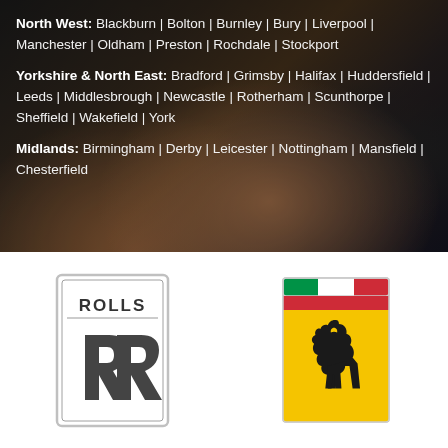[Figure (photo): Luxury car interior photo showing brown leather seats and dashboard, with dark overlay]
North West: Blackburn | Bolton | Burnley | Bury | Liverpool | Manchester | Oldham | Preston | Rochdale | Stockport
Yorkshire & North East: Bradford | Grimsby | Halifax | Huddersfield | Leeds | Middlesbrough | Newcastle | Rotherham | Scunthorpe | Sheffield | Wakefield | York
Midlands: Birmingham | Derby | Leicester | Nottingham | Mansfield | Chesterfield
[Figure (logo): Rolls-Royce logo — silver rectangular badge with 'ROLLS' text at top and interlocked RR monogram below]
[Figure (logo): Ferrari logo — rectangular badge with Italian flag stripe (green, white, red) at top and prancing black horse on yellow background]